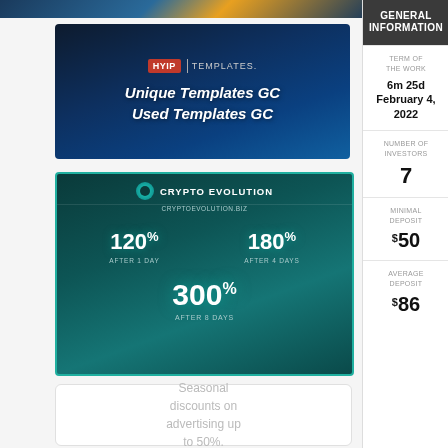[Figure (photo): Top strip image banner (partially visible blue/gold gradient)]
[Figure (illustration): HYIP Templates banner with dark blue background, logo, and text: 'Unique Templates GC / Used Templates GC']
[Figure (infographic): Crypto Evolution banner showing rates: 120% AFTER 1 DAY, 180% AFTER 4 DAYS, 300% AFTER 8 DAYS on teal/dark background]
Seasonal discounts on advertising up to 50%.
GENERAL INFORMATION
| TERM OF THE WORK |  |
| --- | --- |
| 6m 25d
February 4, 2022 |  |
| NUMBER OF INVESTORS
7 |  |
| MINIMAL DEPOSIT
$50 |  |
| AVERAGE DEPOSIT
$86 |  |